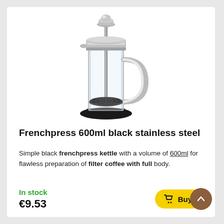[Figure (photo): Frenchpress 600ml black stainless steel coffee press with glass body, chrome lid, and black rubber base on white background]
Frenchpress 600ml black stainless steel
Simple black frenchpress kettle with a volume of 600ml for flawless preparation of filter coffee with full body.
In stock
€9.53